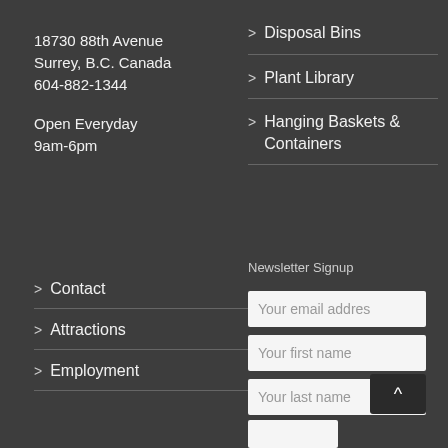18730 88th Avenue
Surrey, B.C. Canada
604-882-1344
Open Everyday
9am-6pm
> Disposal Bins
> Plant Library
> Hanging Baskets & Containers
> Contact
> Attractions
> Employment
Newsletter Signup
Your email addres
Your first name
Your last name